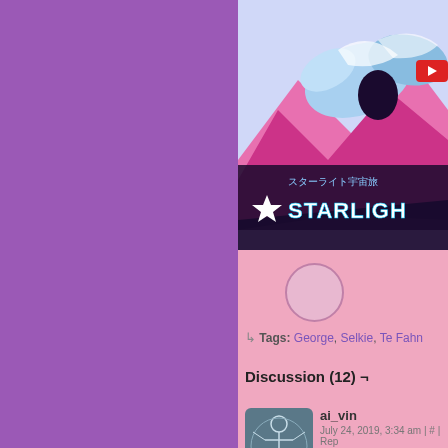[Figure (screenshot): Webcomic page layout. Left half is solid purple background. Right half is pink/light purple. Top right shows an anime-style illustration with the text STARLIGHT and Japanese characters スターライト宇宙旅. Below is a circular avatar placeholder, tags line, Discussion (12) header, and a comment by ai_vin dated July 24, 2019.]
Tags: George, Selkie, Te Fahn
Discussion (12) ¬
ai_vin
July 24, 2019, 3:34 am | # | Rep
Selkie, don't sink this ship.